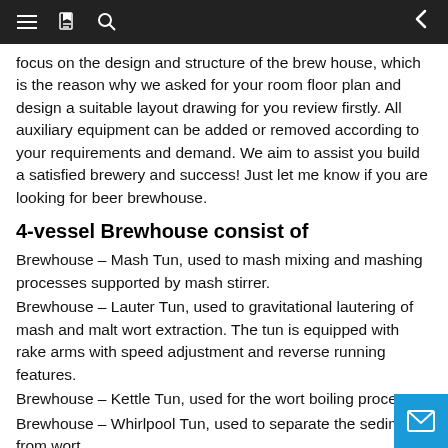Navigation bar with menu, bookmark, search, and back arrow icons
focus on the design and structure of the brew house, which is the reason why we asked for your room floor plan and design a suitable layout drawing for you review firstly. All auxiliary equipment can be added or removed according to your requirements and demand. We aim to assist you build a satisfied brewery and success! Just let me know if you are looking for beer brewhouse.
4-vessel Brewhouse consist of
Brewhouse – Mash Tun, used to mash mixing and mashing processes supported by mash stirrer.
Brewhouse – Lauter Tun, used to gravitational lautering of mash and malt wort extraction. The tun is equipped with rake arms with speed adjustment and reverse running features.
Brewhouse – Kettle Tun, used for the wort boiling process.
Brewhouse – Whirlpool Tun, used to separate the sediments from wort.
Brewhouse – Hot water tank, used to prepare hot water for the boiling process, washing grains and collection of hot water from the plate heating ex-changer. (optional)